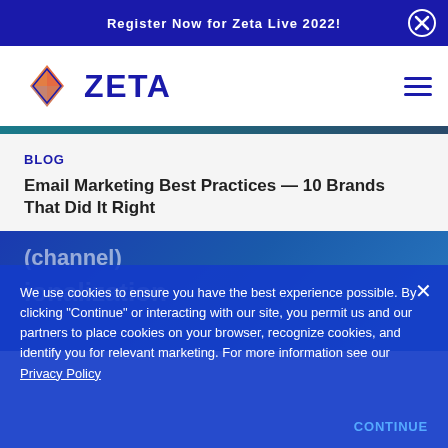Register Now for Zeta Live 2022!
[Figure (logo): Zeta Global logo with diamond/arrow icon and ZETA wordmark in blue]
BLOG
Email Marketing Best Practices — 10 Brands That Did It Right
We use cookies to ensure you have the best experience possible. By clicking "Continue" or interacting with our site, you permit us and our partners to place cookies on your browser, recognize cookies, and identify you for relevant marketing. For more information see our Privacy Policy
(channel)
ionalization